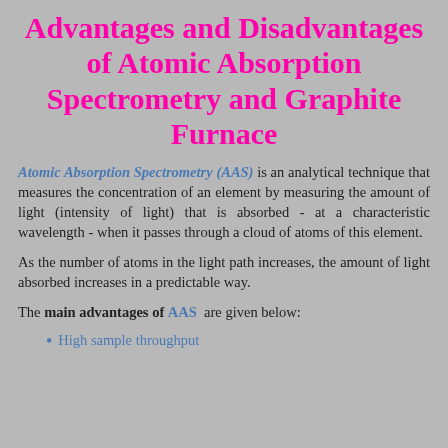Advantages and Disadvantages of Atomic Absorption Spectrometry and Graphite Furnace
Atomic Absorption Spectrometry (AAS) is an analytical technique that measures the concentration of an element by measuring the amount of light (intensity of light) that is absorbed - at a characteristic wavelength - when it passes through a cloud of atoms of this element.
As the number of atoms in the light path increases, the amount of light absorbed increases in a predictable way.
The main advantages of AAS are given below:
High sample throughput